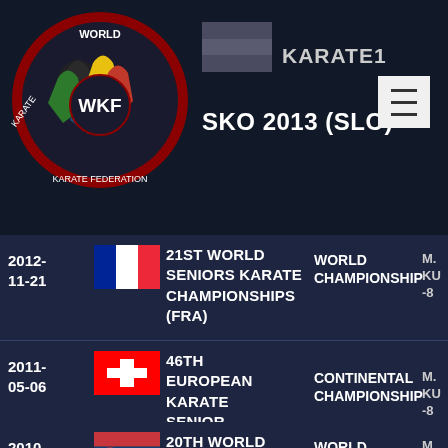[Figure (logo): WKF World Karate Federation circular logo with colored silhouettes]
KARATE1   KARATE1 WORLD CUP   M... KU... -8...
SKO 2013 (SLO)
| Date | Flag | Event Name | Type | Category |
| --- | --- | --- | --- | --- |
| 2012-11-21 | FRA | 21ST WORLD SENIORS KARATE CHAMPIONSHIPS (FRA) | WORLD CHAMPIONSHIP | M... KU... -8... |
| 2011-05-06 | SUI | 46TH EUROPEAN KARATE SENIOR CHAMPIONSHIPS (SUI) | CONTINENTAL CHAMPIONSHIP | M... KU... -8... |
| 2010-10-27 | SRB | 20TH WORLD SENIOR KARATE CHAMPIONSHIPS (SRB) | WORLD CHAMPIONSHIP | M... KU... -8... |